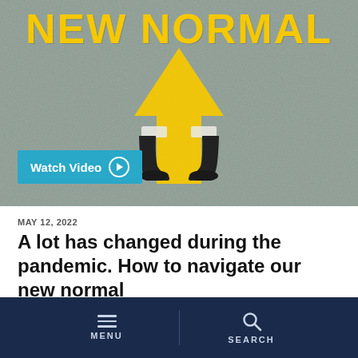[Figure (photo): Photo of asphalt/concrete ground with large yellow painted arrow pointing upward and text 'NEW NORMAL' in yellow at the top. A person's black shoes are visible at the bottom of the arrow. A teal 'Watch Video' button with play icon is in the lower left.]
MAY 12, 2022
A lot has changed during the pandemic. How to navigate our new normal
MENU  SEARCH